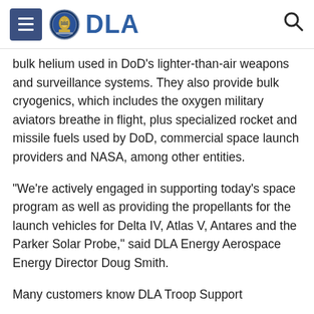DLA
bulk helium used in DoD's lighter-than-air weapons and surveillance systems. They also provide bulk cryogenics, which includes the oxygen military aviators breathe in flight, plus specialized rocket and missile fuels used by DoD, commercial space launch providers and NASA, among other entities.
“We’re actively engaged in supporting today’s space program as well as providing the propellants for the launch vehicles for Delta IV, Atlas V, Antares and the Parker Solar Probe,” said DLA Energy Aerospace Energy Director Doug Smith.
Many customers know DLA Troop Support